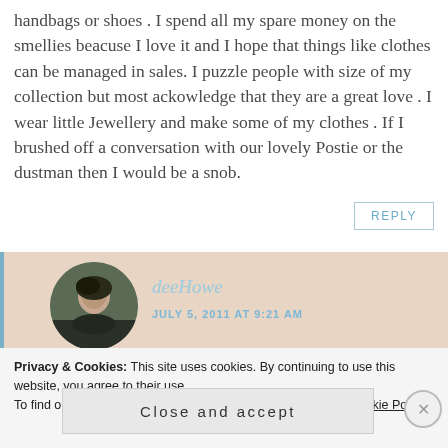handbags or shoes . I spend all my spare money on the smellies beacuse I love it and I hope that things like clothes can be managed in sales. I puzzle people with size of my collection but most ackowledge that they are a great love . I wear little Jewellery and make some of my clothes . If I brushed off a conversation with our lovely Postie or the dustman then I would be a snob.
REPLY
deeHowe
JULY 5, 2011 AT 9:21 AM
Privacy & Cookies: This site uses cookies. By continuing to use this website, you agree to their use.
To find out more, including how to control cookies, see here: Cookie Policy
Close and accept